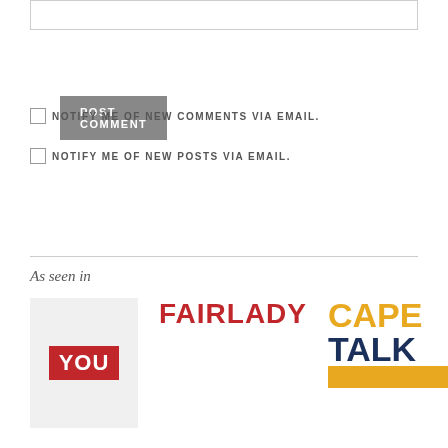[Figure (screenshot): Text input/textarea box at the top of the page]
POST COMMENT
NOTIFY ME OF NEW COMMENTS VIA EMAIL.
NOTIFY ME OF NEW POSTS VIA EMAIL.
As seen in
[Figure (logo): YOU magazine logo - red background with white text]
[Figure (logo): FAIRLADY magazine logo in red bold text]
[Figure (logo): CAPE TALK radio logo in yellow and navy blue bold text]